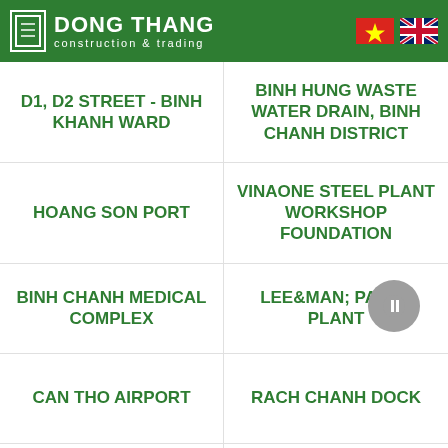DONG THANG construction & trading
D1, D2 STREET - BINH KHANH WARD
BINH HUNG WASTE WATER DRAIN, BINH CHANH DISTRICT
HOANG SON PORT
VINAONE STEEL PLANT WORKSHOP FOUNDATION
BINH CHANH MEDICAL COMPLEX
LEE&MAN; PAPER PLANT
CAN THO AIRPORT
RACH CHANH DOCK
FPT COMPLEX - DA NANG
SONG HAU 1 THERMAL